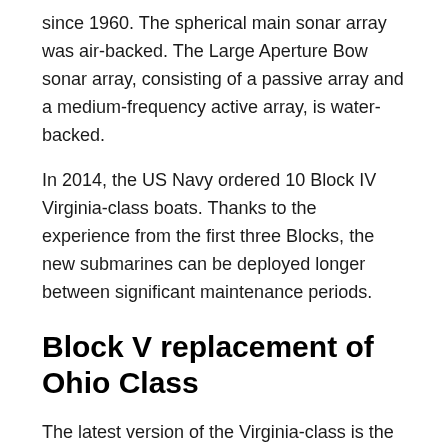since 1960. The spherical main sonar array was air-backed. The Large Aperture Bow sonar array, consisting of a passive array and a medium-frequency active array, is water-backed.
In 2014, the US Navy ordered 10 Block IV Virginia-class boats. Thanks to the experience from the first three Blocks, the new submarines can be deployed longer between significant maintenance periods.
Block V replacement of Ohio Class
The latest version of the Virginia-class is the Block V. The first boat of this version, USS Oklahoma, was authorized for construction on 2 December 2019. The Block V submarines will have an additional Virginia Payload Module mid-body